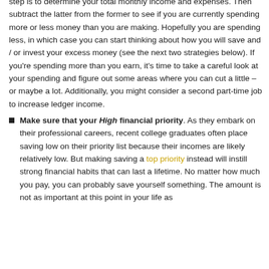step is to determine your total monthly income and expenses. Then subtract the latter from the former to see if you are currently spending more or less money than you are making. Hopefully you are spending less, in which case you can start thinking about how you will save and / or invest your excess money (see the next two strategies below). If you're spending more than you earn, it's time to take a careful look at your spending and figure out some areas where you can cut a little – or maybe a lot. Additionally, you might consider a second part-time job to increase ledger income.
Make sure that your High financial priority. As they embark on their professional careers, recent college graduates often place saving low on their priority list because their incomes are likely relatively low. But making saving a top priority instead will instill strong financial habits that can last a lifetime. No matter how much you pay, you can probably save yourself something. The amount is not as important at this point in your life as